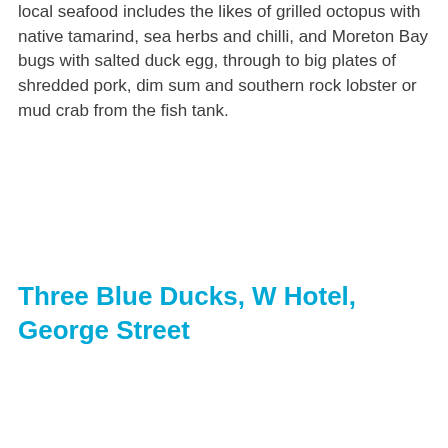local seafood includes the likes of grilled octopus with native tamarind, sea herbs and chilli, and Moreton Bay bugs with salted duck egg, through to big plates of shredded pork, dim sum and southern rock lobster or mud crab from the fish tank.
Three Blue Ducks, W Hotel, George Street